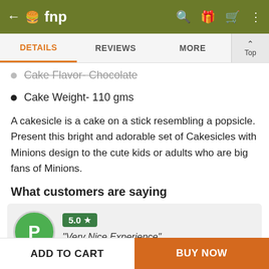← fnp [search] [gift] [cart] [more]
DETAILS | REVIEWS | MORE | Top
Cake Flavor- Chocolate
Cake Weight- 110 gms
A cakesicle is a cake on a stick resembling a popsicle. Present this bright and adorable set of Cakesicles with Minions design to the cute kids or adults who are big fans of Minions.
What customers are saying
PRADE... | 5.0 ★ | "Very Nice Experience"
ADD TO CART | BUY NOW